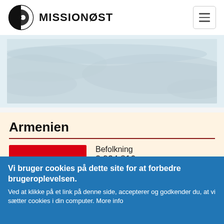MISSIONØST
[Figure (map): Partial map view with light blue/grey tones showing geographic area]
Armenien
Befolkning
2.924.816
Projekter
Vi bruger cookies på dette site for at forbedre brugeroplevelsen.
Ved at klikke på et link på denne side, accepterer og godkender du, at vi sætter cookies i din computer. More info